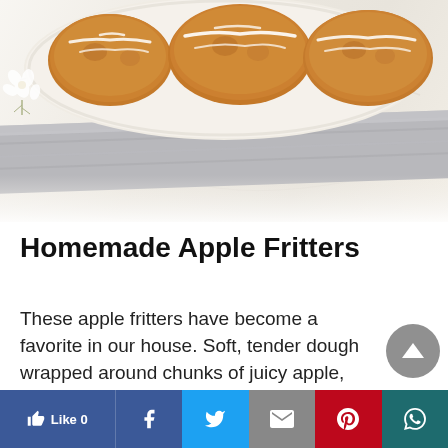[Figure (photo): Photo of homemade apple fritters on a white plate/dish, placed on a folded grey linen cloth on a white marble surface. The fritters are golden-brown with white glaze drizzled on top.]
Homemade Apple Fritters
These apple fritters have become a favorite in our house. Soft, tender dough wrapped around chunks of juicy apple, laced with cinnamon and then fried to a crisp...